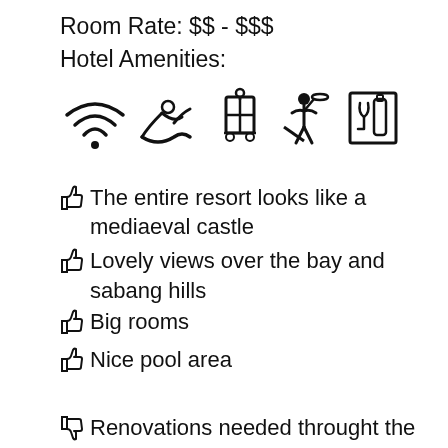Room Rate: $$ - $$$
Hotel Amenities:
[Figure (infographic): Row of hotel amenity icons: WiFi, swimming, luggage/bellhop, concierge with tray, bar/wine cabinet]
The entire resort looks like a mediaeval castle
Lovely views over the bay and sabang hills
Big rooms
Nice pool area
Renovations needed throught the resort
Wi-Fi only works in the lobby
Located on the main road so lots of